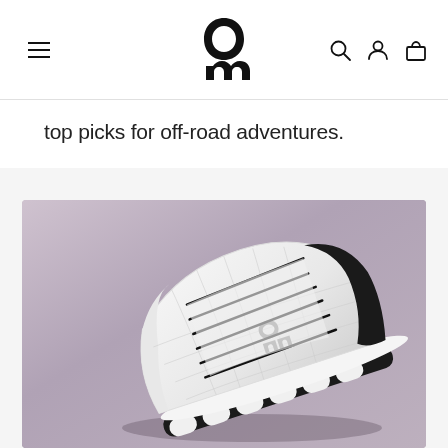On (logo) — navigation header with hamburger menu, search, account, and cart icons
top picks for off-road adventures.
[Figure (photo): Product photo of an On running shoe (white and black colorway) floating/levitating against a muted purple-grey gradient background, showing the CloudTec sole and On logo on the side]